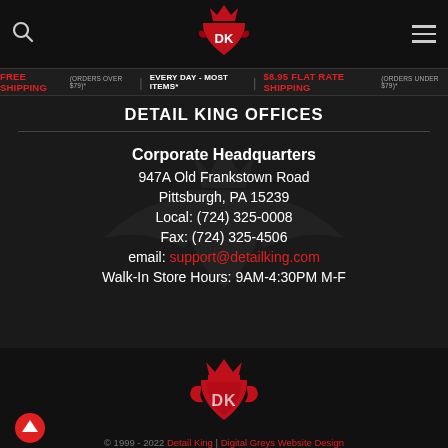Detail King navigation header with logo, search icon, and menu icon
FREE SHIPPING (ORDERS OVER $79)* | EVERY DAY - MOST ITEMS* | $8.95 FLAT RATE SHIPPING (ORDERS UNDER $79)*
DETAIL KING OFFICES
Corporate Headquarters
947A Old Frankstown Road
Pittsburgh, PA 15239
Local: (724) 325-0008
Fax: (724) 325-4506
email: support@detailking.com
Walk-In Store Hours: 9AM-4:30PM M-F
[Figure (logo): Detail King DK logo in red with crown and wings, footer version]
© 1999 - 2022 Detail King | Digital Greys Website Design